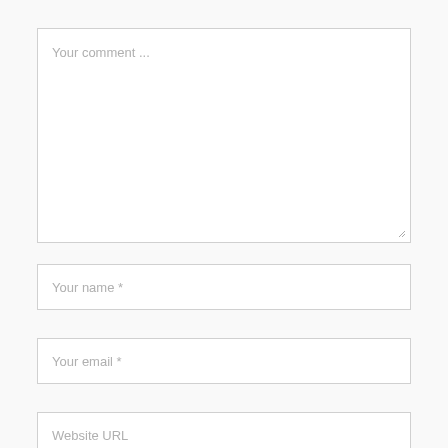Your comment ...
Your name *
Your email *
Website URL